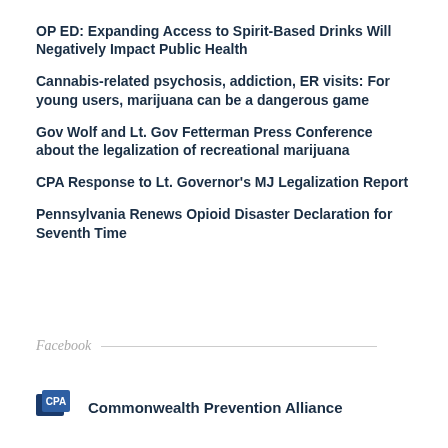OP ED: Expanding Access to Spirit-Based Drinks Will Negatively Impact Public Health
Cannabis-related psychosis, addiction, ER visits: For young users, marijuana can be a dangerous game
Gov Wolf and Lt. Gov Fetterman Press Conference about the legalization of recreational marijuana
CPA Response to Lt. Governor's MJ Legalization Report
Pennsylvania Renews Opioid Disaster Declaration for Seventh Time
Facebook
Commonwealth Prevention Alliance